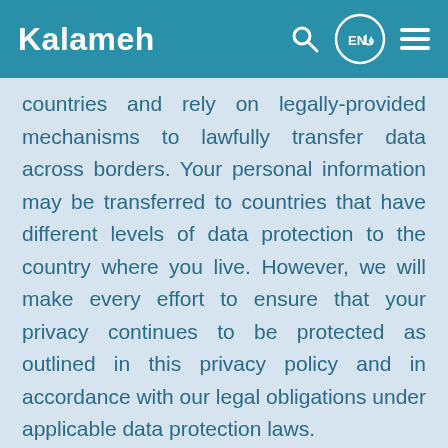Kalameh
countries and rely on legally-provided mechanisms to lawfully transfer data across borders. Your personal information may be transferred to countries that have different levels of data protection to the country where you live. However, we will make every effort to ensure that your privacy continues to be protected as outlined in this privacy policy and in accordance with our legal obligations under applicable data protection laws.
Card payments